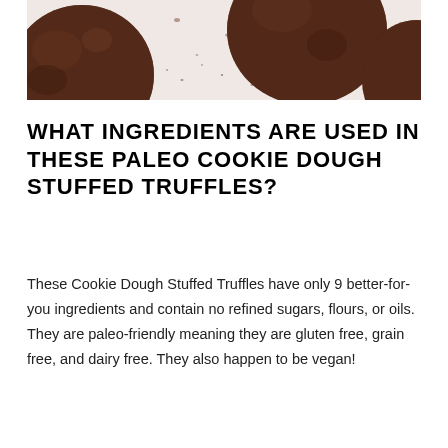[Figure (photo): Close-up photo of chocolate truffles dusted with cocoa powder on a white surface]
WHAT INGREDIENTS ARE USED IN THESE PALEO COOKIE DOUGH STUFFED TRUFFLES?
These Cookie Dough Stuffed Truffles have only 9 better-for-you ingredients and contain no refined sugars, flours, or oils. They are paleo-friendly meaning they are gluten free, grain free, and dairy free. They also happen to be vegan!